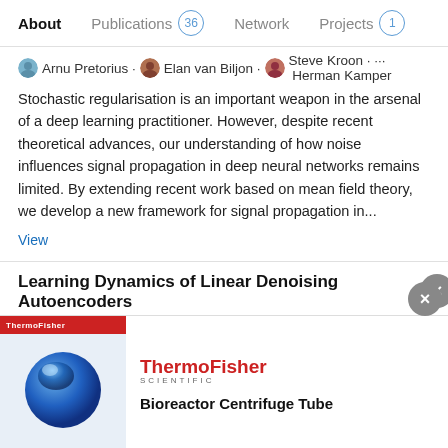About   Publications 36   Network   Projects 1
Arnu Pretorius · Elan van Biljon · Steve Kroon · Herman Kamper
Stochastic regularisation is an important weapon in the arsenal of a deep learning practitioner. However, despite recent theoretical advances, our understanding of how noise influences signal propagation in deep neural networks remains limited. By extending recent work based on mean field theory, we develop a new framework for signal propagation in...
View
Learning Dynamics of Linear Denoising Autoencoders
Preprint
Jun 2018
Advertisement
[Figure (other): ThermoFisher Scientific advertisement banner showing a blue bioreactor centrifuge tube with the product title 'Bioreactor Centrifuge Tube']